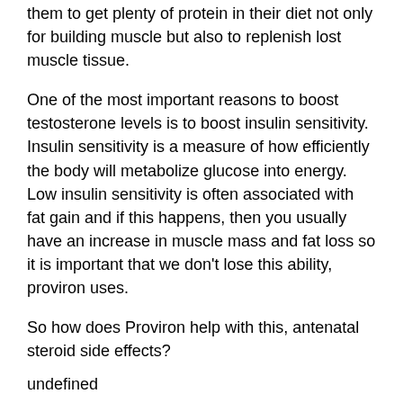them to get plenty of protein in their diet not only for building muscle but also to replenish lost muscle tissue.
One of the most important reasons to boost testosterone levels is to boost insulin sensitivity. Insulin sensitivity is a measure of how efficiently the body will metabolize glucose into energy. Low insulin sensitivity is often associated with fat gain and if this happens, then you usually have an increase in muscle mass and fat loss so it is important that we don't lose this ability, proviron uses.
So how does Proviron help with this, antenatal steroid side effects?
undefined